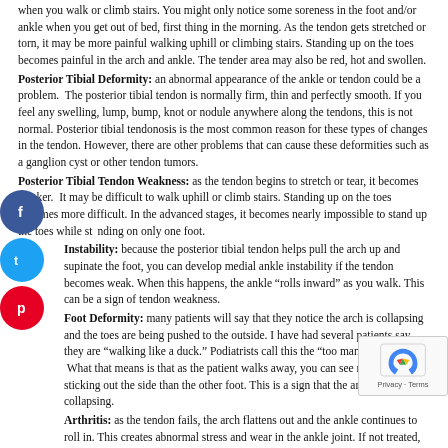when you walk or climb stairs. You might only notice some soreness in the foot and/or ankle when you get out of bed, first thing in the morning. As the tendon gets stretched or torn, it may be more painful walking uphill or climbing stairs. Standing up on the toes becomes painful in the arch and ankle. The tender area may also be red, hot and swollen.
Posterior Tibial Deformity: an abnormal appearance of the ankle or tendon could be a problem. The posterior tibial tendon is normally firm, thin and perfectly smooth. If you feel any swelling, lump, bump, knot or nodule anywhere along the tendons, this is not normal. Posterior tibial tendonosis is the most common reason for these types of changes in the tendon. However, there are other problems that can cause these deformities such as a ganglion cyst or other tendon tumors.
Posterior Tibial Tendon Weakness: as the tendon begins to stretch or tear, it becomes weaker. It may be difficult to walk uphill or climb stairs. Standing up on the toes becomes more difficult. In the advanced stages, it becomes nearly impossible to stand up the toes while standing on only one foot.
Instability: because the posterior tibial tendon helps pull the arch up and supinate the foot, you can develop medial ankle instability if the tendon becomes weak. When this happens, the ankle "rolls inward" as you walk. This can be a sign of tendon weakness.
Foot Deformity: many patients will say that they notice the arch is collapsing and the toes are being pushed to the outside. I have had several patients say they are "walking like a duck." Podiatrists call this the "too many toes sign." What that means is that as the patient walks away, you can see more toes sticking out the side than the other foot. This is a sign that the arch is collapsing.
Arthritis: as the tendon fails, the arch flattens out and the ankle continues to roll in. This creates abnormal stress and wear in the ankle joint. If not treated, severe arthritis in the ankle can develop.
What Causes PTTD?
Posterior tibial tendon dysfunction is basically caused by overuse. Although certain people have a foot type that makes them more prone to developing PTTD, activity is the root cause. Flat feet, obesity, and diabetes are just a few of the conditions that can put you more at risk for PTTD. But once the tendon gets overused, a cycle of inflammation sets in. The chronic inflammation leads to weakness and micro-tears in the tendon that make it weaker, and susceptible to continued injury. Activities that strain the posterior tibial tendon and cause PTTD are hiking, walking on uneven surfaced (like a roof top), ladder climbing, hill climbing, mountain climbing, step aerobics, working out on a stair-climbing machine, elliptical trainer at the gym, and running.
Diagnosis of Posterior Tibial Tendonitis
If it seems your ankle pain might be caused by posterior tibial tendonitis, your foot doctor will